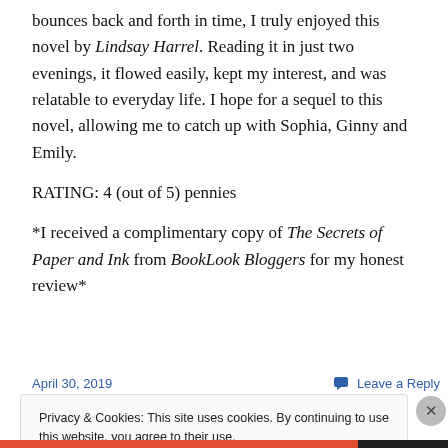bounces back and forth in time, I truly enjoyed this novel by Lindsay Harrel. Reading it in just two evenings, it flowed easily, kept my interest, and was relatable to everyday life. I hope for a sequel to this novel, allowing me to catch up with Sophia, Ginny and Emily.
RATING: 4 (out of 5) pennies
*I received a complimentary copy of The Secrets of Paper and Ink from BookLook Bloggers for my honest review*
April 30, 2019    Leave a Reply
Privacy & Cookies: This site uses cookies. By continuing to use this website, you agree to their use.
To find out more, including how to control cookies, see here: Cookie Policy